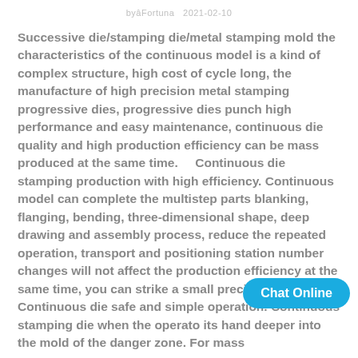by Fortuna   2021-02-10
Successive die/stamping die/metal stamping mold the characteristics of the continuous model is a kind of complex structure, high cost of cycle long, the manufacture of high precision metal stamping progressive dies, progressive dies punch high performance and easy maintenance, continuous die quality and high production efficiency can be mass produced at the same time.     Continuous die stamping production with high efficiency. Continuous model can complete the multistep parts blanking, flanging, bending, three-dimensional shape, deep drawing and assembly process, reduce the repeated operation, transport and positioning station number changes will not affect the production efficiency at the same time, you can strike a small precision parts. b  Continuous die safe and simple operation. Continuous stamping die when the operator its hand deeper into the mold of the danger zone. For mass